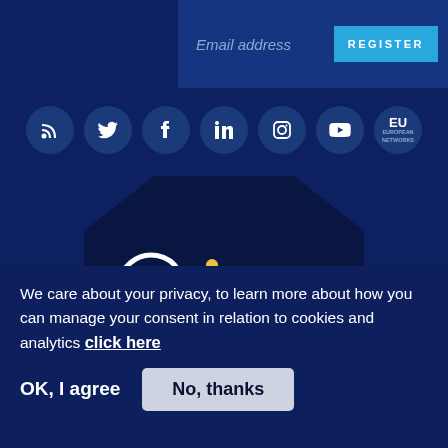[Figure (screenshot): Email address input field with a cyan REGISTER button on a dark blue background]
[Figure (infographic): Row of seven social media icon circles (RSS, Twitter, Facebook, LinkedIn, Instagram, YouTube, EU) on dark blue background]
[Figure (logo): Copernicus hexagonal logo with text 'Europe's eyes on Earth' and a right arrow, on dark navy hexagon shapes]
We care about your privacy, to learn more about how you can manage your consent in relation to cookies and analytics click here
OK, I agree
No, thanks